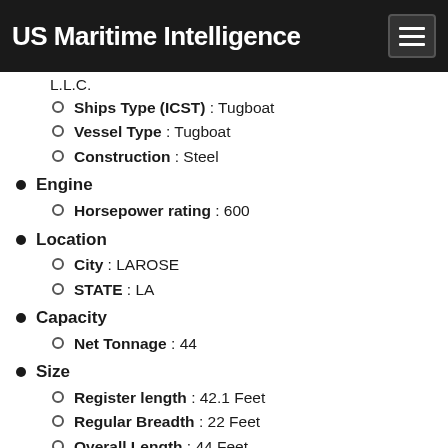US Maritime Intelligence
L.L.C.
Ships Type (ICST) : Tugboat
Vessel Type : Tugboat
Construction : Steel
Engine
Horsepower rating : 600
Location
City : LAROSE
STATE : LA
Capacity
Net Tonnage : 44
Size
Register length : 42.1 Feet
Regular Breadth : 22 Feet
Overall Length : 44 Feet
Overall Breadt : 22 Feet
Load draft : 6.1 Feet
Light Draft : 6.1 Feet
Height : 16 Feet
Other